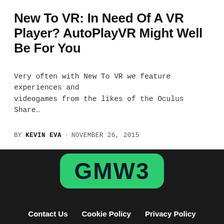New To VR: In Need Of A VR Player? AutoPlayVR Might Well Be For You
Very often with New To VR we feature experiences and videogames from the likes of the Oculus Share…
BY KEVIN EVA · NOVEMBER 26, 2015
[Figure (logo): GMW3 logo — white text on green rounded rectangle background]
Contact Us   Cookie Policy   Privacy Policy   Competition Terms
[Figure (infographic): Social media icons: Facebook, Twitter, Instagram, LinkedIn — white icons in dark circles]